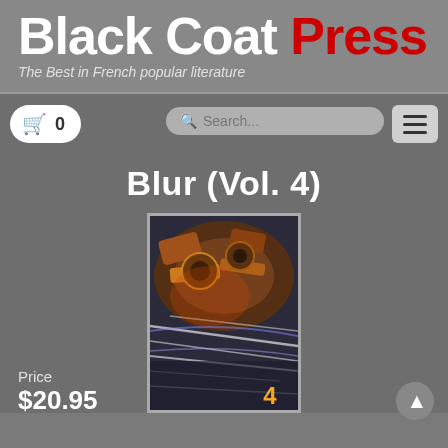Black Coat Press — The Best in French popular literature
Blur (Vol. 4)
[Figure (photo): Book cover of Blur Vol. 4 showing a blurred action/mechanical scene with the number 4 in orange at the bottom right]
Price
$20.95